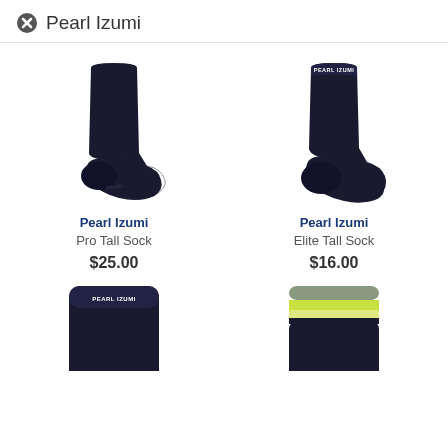Pearl Izumi
[Figure (photo): Pearl Izumi Pro Tall Sock - black cycling sock shown from the side]
Pearl Izumi
Pro Tall Sock
$25.00
[Figure (photo): Pearl Izumi Elite Tall Sock - black cycling sock shown from the side with Pearl Izumi logo at cuff]
Pearl Izumi
Elite Tall Sock
$16.00
[Figure (photo): Pearl Izumi sock - black with Pearl Izumi logo at cuff, partially visible at bottom]
[Figure (photo): Pearl Izumi sock - black with green, yellow and grey horizontal stripes at cuff, partially visible at bottom]